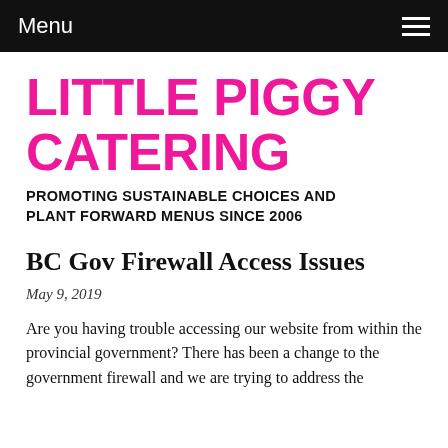Menu
LITTLE PIGGY CATERING
PROMOTING SUSTAINABLE CHOICES AND PLANT FORWARD MENUS SINCE 2006
BC Gov Firewall Access Issues
May 9, 2019
Are you having trouble accessing our website from within the provincial government? There has been a change to the government firewall and we are trying to address the